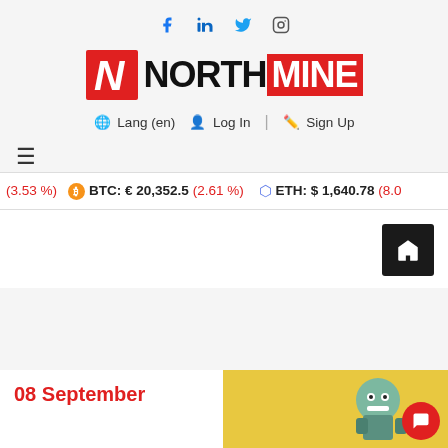Social icons: Facebook, LinkedIn, Twitter, Instagram
[Figure (logo): NorthMine logo with red N icon and NORTHMINE text where MINE is on red background]
Lang (en) | Log In | Sign Up
≡ hamburger menu icon
(3.53 %) BTC: € 20,352.5 (2.61 %) ETH: $ 1,640.78 (8.05%)
08 September
[Figure (illustration): Cartoon robot illustration on yellow background]